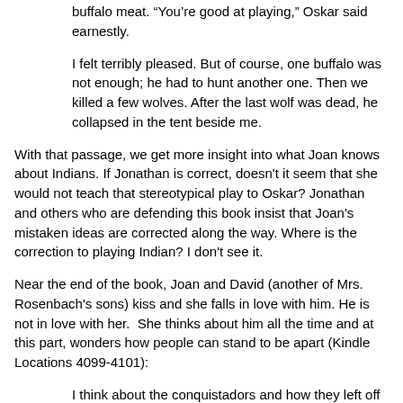buffalo meat. “You’re good at playing,” Oskar said earnestly.
I felt terribly pleased. But of course, one buffalo was not enough; he had to hunt another one. Then we killed a few wolves. After the last wolf was dead, he collapsed in the tent beside me.
With that passage, we get more insight into what Joan knows about Indians. If Jonathan is correct, doesn't it seem that she would not teach that stereotypical play to Oskar? Jonathan and others who are defending this book insist that Joan's mistaken ideas are corrected along the way. Where is the correction to playing Indian? I don't see it.
Near the end of the book, Joan and David (another of Mrs. Rosenbach's sons) kiss and she falls in love with him. He is not in love with her.  She thinks about him all the time and at this part, wonders how people can stand to be apart (Kindle Locations 4099-4101):
I think about the conquistadors and how they left off kissing their wives and went sailing across the